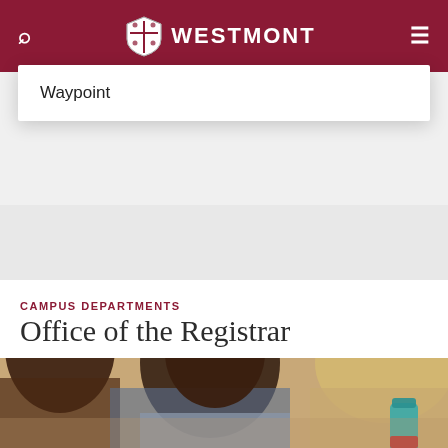Transcripts and Forms | Transfer Credits | Waypoint — WESTMONT
Waypoint
CAMPUS DEPARTMENTS
Office of the Registrar
[Figure (photo): Students studying together in a classroom; center is a young woman with dark hair in a ponytail smiling down at her work; a blonde woman is visible to the right holding a teal water bottle.]